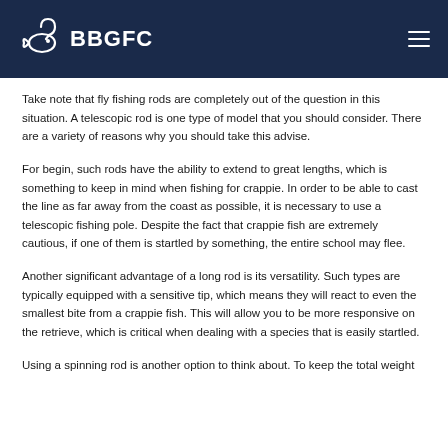BBGFC
Take note that fly fishing rods are completely out of the question in this situation. A telescopic rod is one type of model that you should consider. There are a variety of reasons why you should take this advise.
For begin, such rods have the ability to extend to great lengths, which is something to keep in mind when fishing for crappie. In order to be able to cast the line as far away from the coast as possible, it is necessary to use a telescopic fishing pole. Despite the fact that crappie fish are extremely cautious, if one of them is startled by something, the entire school may flee.
Another significant advantage of a long rod is its versatility. Such types are typically equipped with a sensitive tip, which means they will react to even the smallest bite from a crappie fish. This will allow you to be more responsive on the retrieve, which is critical when dealing with a species that is easily startled.
Using a spinning rod is another option to think about. To keep the total weight